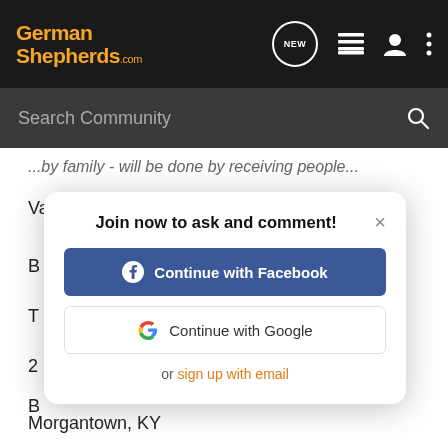GermanShepherds.com
Search Community
...by family - will be done by receiving people...
Vaccinations: UTD
B
T
2
B
[Figure (screenshot): Modal dialog with title 'Join now to ask and comment!' with options to Continue with Facebook, Continue with Google, or sign up with email, and a close button (x)]
Morgantown, KY